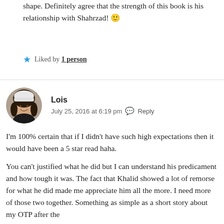shape. Definitely agree that the strength of this book is his relationship with Shahrzad! 🙂
★ Liked by 1 person
Lois
July 25, 2016 at 6:19 pm · Reply
[Figure (photo): Circular avatar photo of user Lois, a young woman wearing a white winter hat, smiling.]
I'm 100% certain that if I didn't have such high expectations then it would have been a 5 star read haha.
You can't justified what he did but I can understand his predicament and how tough it was. The fact that Khalid showed a lot of remorse for what he did made me appreciate him all the more. I need more of those two together. Something as simple as a short story about my OTP after the